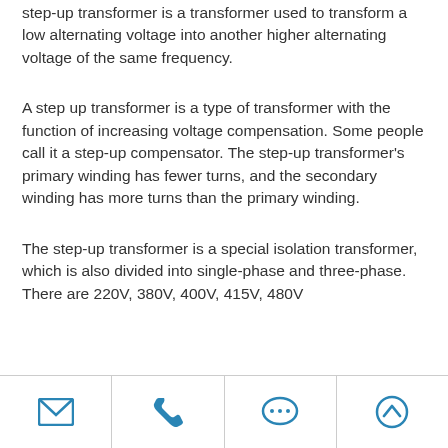step-up transformer is a transformer used to transform a low alternating voltage into another higher alternating voltage of the same frequency.
A step up transformer is a type of transformer with the function of increasing voltage compensation. Some people call it a step-up compensator. The step-up transformer's primary winding has fewer turns, and the secondary winding has more turns than the primary winding.
The step-up transformer is a special isolation transformer, which is also divided into single-phase and three-phase. There are 220V, 380V, 400V, 415V, 480V
Email | Phone | Chat | Up